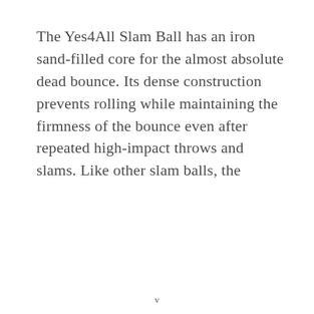The Yes4All Slam Ball has an iron sand-filled core for the almost absolute dead bounce. Its dense construction prevents rolling while maintaining the firmness of the bounce even after repeated high-impact throws and slams. Like other slam balls, the
v